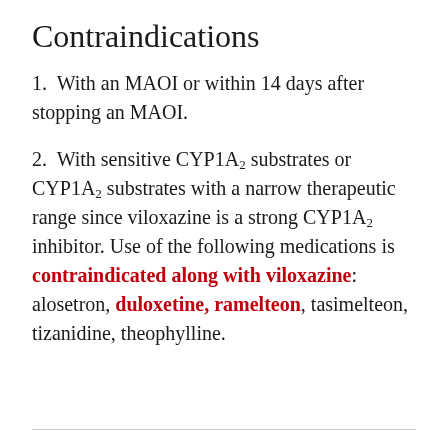Contraindications
1. With an MAOI or within 14 days after stopping an MAOI.
2. With sensitive CYP1A2 substrates or CYP1A2 substrates with a narrow therapeutic range since viloxazine is a strong CYP1A2 inhibitor. Use of the following medications is contraindicated along with viloxazine: alosetron, duloxetine, ramelteon, tasimelteon, tizanidine, theophylline.